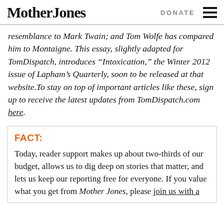Mother Jones | DONATE
resemblance to Mark Twain; and Tom Wolfe has compared him to Montaigne. This essay, slightly adapted for TomDispatch, introduces “Intoxication,” the Winter 2012 issue of Lapham’s Quarterly, soon to be released at that website. To stay on top of important articles like these, sign up to receive the latest updates from TomDispatch.com here.
FACT:
Today, reader support makes up about two-thirds of our budget, allows us to dig deep on stories that matter, and lets us keep our reporting free for everyone. If you value what you get from Mother Jones, please join us with a